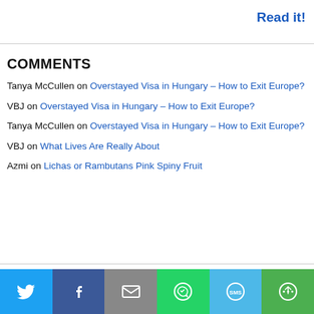Read it!
COMMENTS
Tanya McCullen on Overstayed Visa in Hungary – How to Exit Europe?
VBJ on Overstayed Visa in Hungary – How to Exit Europe?
Tanya McCullen on Overstayed Visa in Hungary – How to Exit Europe?
VBJ on What Lives Are Really About
Azmi on Lichas or Rambutans Pink Spiny Fruit
[Figure (infographic): Social sharing bar with Twitter, Facebook, Email, WhatsApp, SMS, and More buttons]